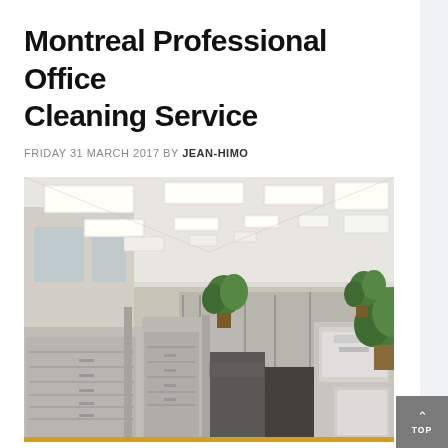Montreal Professional Office Cleaning Service
FRIDAY 31 MARCH 2017 BY JEAN-HIMO
[Figure (photo): Interior of a large open-plan office space with cubicle dividers, filing cabinets, potted plants, printers, and drop-ceiling fluorescent lighting. The floor has dark grey carpet and the walls are beige. The perspective is down a main aisle between the cubicles.]